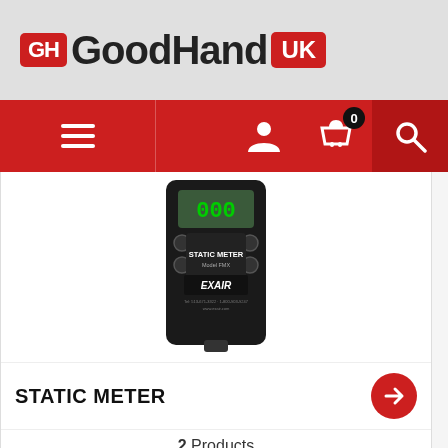[Figure (logo): GoodHand UK logo with red GH badge, black text GoodHand, red UK badge]
[Figure (screenshot): Navigation bar with hamburger menu, user icon, basket icon with 0 badge, search icon]
[Figure (photo): EXAIR Static Meter device - black handheld electronic meter with LCD display]
STATIC METER
2 Products
We have placed cookies on your device to help make this website better.
Ok